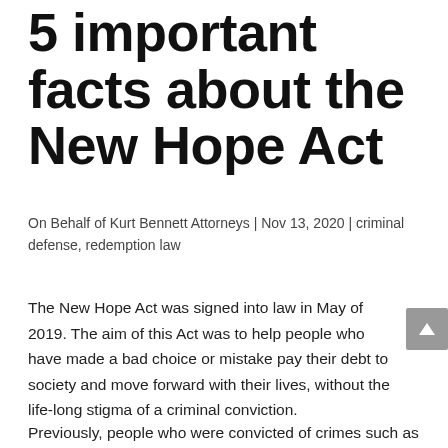5 important facts about the New Hope Act
On Behalf of Kurt Bennett Attorneys | Nov 13, 2020 | criminal defense, redemption law
The New Hope Act was signed into law in May of 2019. The aim of this Act was to help people who have made a bad choice or mistake pay their debt to society and move forward with their lives, without the life-long stigma of a criminal conviction.
Previously, people who were convicted of crimes such as